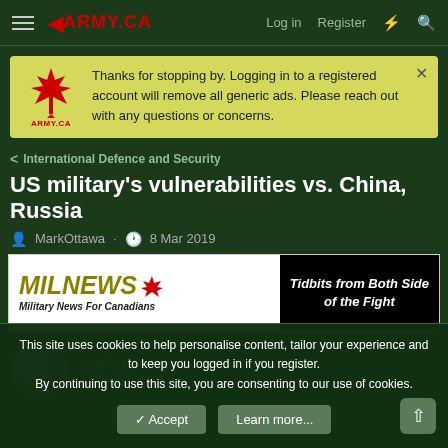ARMY.CA — Log in   Register
Thanks for stopping by. Logging in to a registered account will remove all generic ads. Please reach out with any questions or concerns.
International Defence and Security
US military's vulnerabilities vs. China, Russia
MarkOttawa · 8 Mar 2019
[Figure (screenshot): MILNEWS.ca banner — Military News For Canadians / Tidbits from Both Sides of the Fight]
MarkOttawa
Army.ca Fixture
This site uses cookies to help personalise content, tailor your experience and to keep you logged in if you register.
By continuing to use this site, you are consenting to our use of cookies.